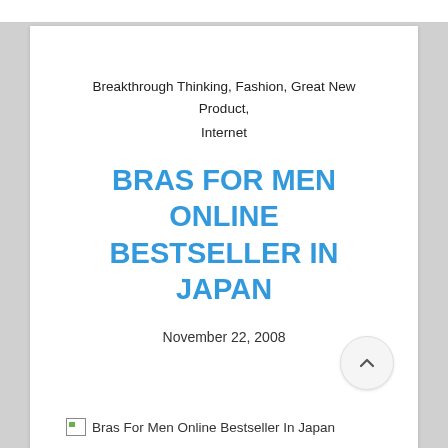Breakthrough Thinking, Fashion, Great New Product,
Internet
BRAS FOR MEN ONLINE BESTSELLER IN JAPAN
November 22, 2008
[Figure (other): Broken image placeholder for 'Bras For Men Online Bestseller In Japan']